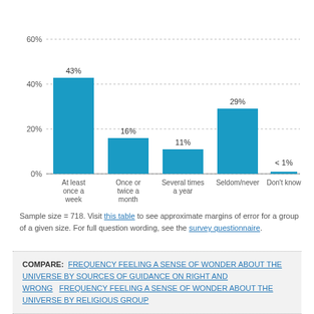[Figure (bar-chart): ]
Sample size = 718. Visit this table to see approximate margins of error for a group of a given size. For full question wording, see the survey questionnaire.
COMPARE: FREQUENCY FEELING A SENSE OF WONDER ABOUT THE UNIVERSE BY SOURCES OF GUIDANCE ON RIGHT AND WRONG   FREQUENCY FEELING A SENSE OF WONDER ABOUT THE UNIVERSE BY RELIGIOUS GROUP